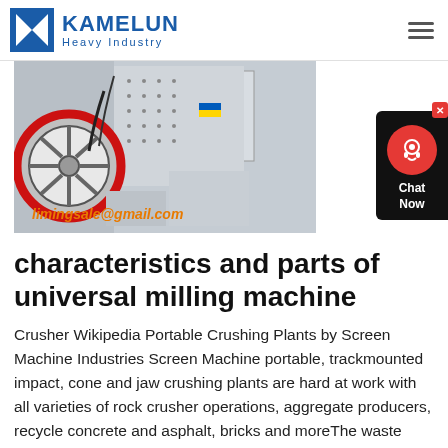KAMELUN Heavy Industry
[Figure (photo): Industrial milling/crushing machine photographed in a warehouse or factory setting. The machine is white/grey with a large red and black flywheel visible on the left side. Text overlay reads 'limingsale@gmail.com' in orange italic font.]
[Figure (illustration): Chat widget panel on the right side with red circle icon showing a customer service representative, black background panel with 'Chat Now' text in white, and a red X close button.]
characteristics and parts of universal milling machine
Crusher Wikipedia Portable Crushing Plants by Screen Machine Industries Screen Machine portable, trackmounted impact, cone and jaw crushing plants are hard at work with all varieties of rock crusher operations, aggregate producers, recycle concrete and asphalt, bricks and moreThe waste generated from job